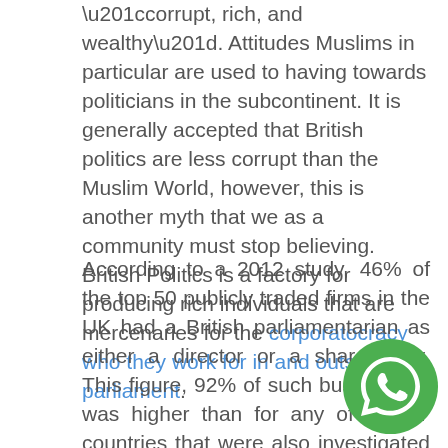“corrupt, rich, and wealthy”. Attitudes Muslims in particular are used to having towards politicians in the subcontinent. It is generally accepted that British politics are less corrupt than the Muslim World, however, this is another myth that we as a community must stop believing. British Politics is a factory for producing rich individuals that are mercenaries for the corporatocracy who they work for in and outside parliament.
According to a 2012 study, 46% of the top 50 publicly traded firms in the UK had a British parliamentarian as either a director or a shareholder. This figure, 92% of such businesses, was higher than for any of the 47 countries that were also investigated with the next in rank being Italy at 16% of such businesses. The corporate-legislative connection in Britain is an astonishing six times stronger than the Western European average. British business and political
[Figure (logo): WhatsApp logo — green circle with white phone handset icon]